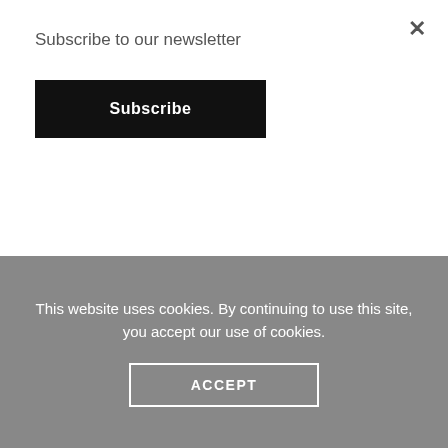Subscribe to our newsletter
Subscribe
×
IDYLL Anti wrinkle eye gel
kr350,00
This website uses cookies. By continuing to use this site, you accept our use of cookies.
ACCEPT